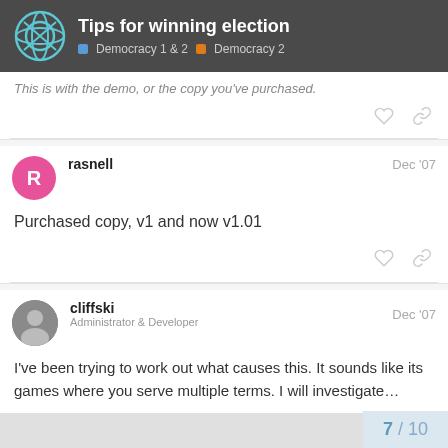Tips for winning election — Democracy 1 & 2, Democracy 2
This is with the demo, or the copy you've purchased.
rasnell — Dec '07
Purchased copy, v1 and now v1.01
cliffski — Administrator & Developer — Dec '07
I've been trying to work out what causes this. It sounds like its games where you serve multiple terms. I will investigate…
7 / 10